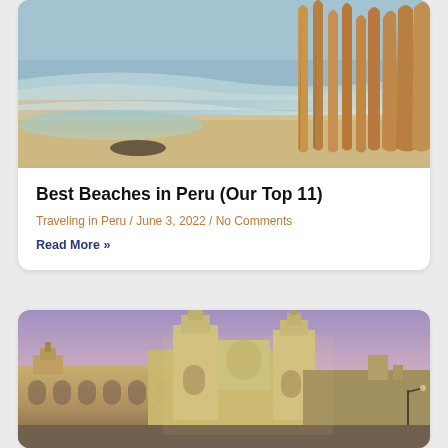[Figure (photo): Beach scene with reed boats (caballitos de totora) on sandy shore with ocean waves, warm golden tones]
Best Beaches in Peru (Our Top 11)
Traveling in Peru / June 3, 2022 / No Comments
Read More »
[Figure (photo): Lima Cathedral and Archbishop's Palace at Plaza Mayor, illuminated at dusk with pink and purple sky]